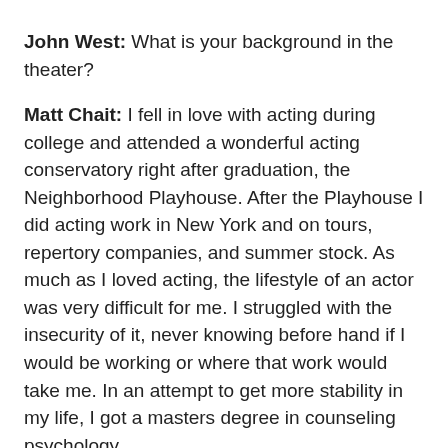John West: What is your background in the theater?
Matt Chait: I fell in love with acting during college and attended a wonderful acting conservatory right after graduation, the Neighborhood Playhouse. After the Playhouse I did acting work in New York and on tours, repertory companies, and summer stock. As much as I loved acting, the lifestyle of an actor was very difficult for me. I struggled with the insecurity of it, never knowing before hand if I would be working or where that work would take me. In an attempt to get more stability in my life, I got a masters degree in counseling psychology.
To support myself during this time I began working as an acting teacher at the American Academy of